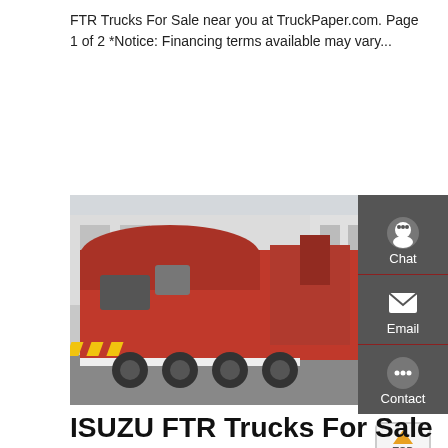FTR Trucks For Sale near you at TruckPaper.com. Page 1 of 2 *Notice: Financing terms available may vary...
[Figure (other): Green 'Get a Quote' button]
[Figure (photo): Large red garbage/refuse truck photographed from the rear-side angle in a lot, showing the compactor body, chevron reflective markings, and multiple axles.]
[Figure (other): Dark sidebar with Chat, Email, and Contact icons, and a TOP scroll button]
ISUZU FTR Trucks For Sale